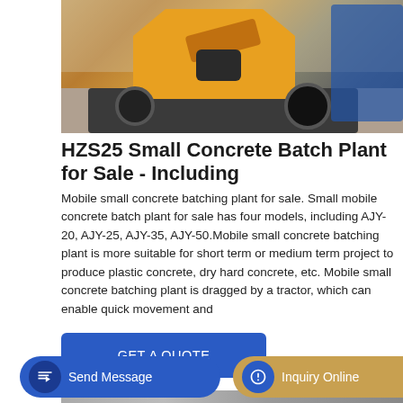[Figure (photo): Photo of an HZS25 small concrete batching plant / mobile concrete mixer on a wheeled frame with yellow hopper arm and black motor, parked in an industrial building. A blue machine is visible in the background on the right.]
HZS25 Small Concrete Batch Plant for Sale - Including
Mobile small concrete batching plant for sale. Small mobile concrete batch plant for sale has four models, including AJY-20, AJY-25, AJY-35, AJY-50.Mobile small concrete batching plant is more suitable for short term or medium term project to produce plastic concrete, dry hard concrete, etc. Mobile small concrete batching plant is dragged by a tractor, which can enable quick movement and
GET A QUOTE
[Figure (photo): Bottom strip showing partial view of another concrete batching plant or truck.]
Send Message
Inquiry Online